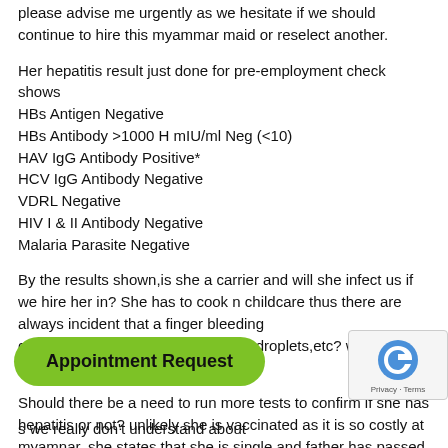please advise me urgently as we hesitate if we should continue to hire this myammar maid or reselect another.
Her hepatitis result just done for pre-employment check shows
HBs Antigen Negative
HBs Antibody >1000 H mIU/ml Neg (<10)
HAV IgG Antibody Positive*
HCV IgG Antibody Negative
VDRL Negative
HIV I & II Antibody Negative
Malaria Parasite Negative
By the results shown,is she a carrier and will she infect us if we hire her in? She has to cook n childcare thus there are always incident that a finger bleeding cut,mucous,saliva,sneeze,cough of droplets,etc? will she infect us via this channel?
Should there be a need to run more tests to confirm if she has hepatitis or not? unlikely she is vaccinated as it is so costly at myamnar. she states that she is single and father has passed away? How did she has antibody if she is not infected right? Ant likelihood that she is a lesbian,sexual interco
s we really don't understand about